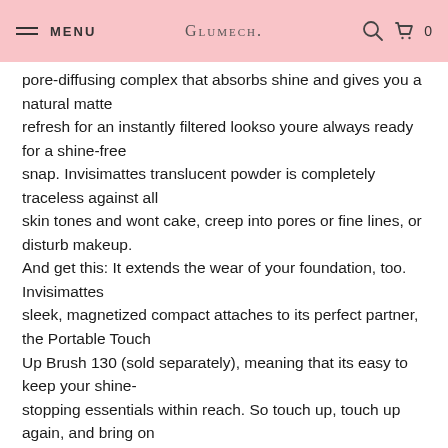MENU  GLUMECH.  0
pore-diffusing complex that absorbs shine and gives you a natural matte refresh for an instantly filtered lookso youre always ready for a shine-free snap. Invisimattes translucent powder is completely traceless against all skin tones and wont cake, creep into pores or fine lines, or disturb makeup. And get this: It extends the wear of your foundation, too. Invisimattes sleek, magnetized compact attaches to its perfect partner, the Portable Touch Up Brush 130 (sold separately), meaning that its easy to keep your shine- stopping essentials within reach. So touch up, touch up again, and bring on the photo ops. What it is formulated WITHOUT: - Parabens - Sulfates